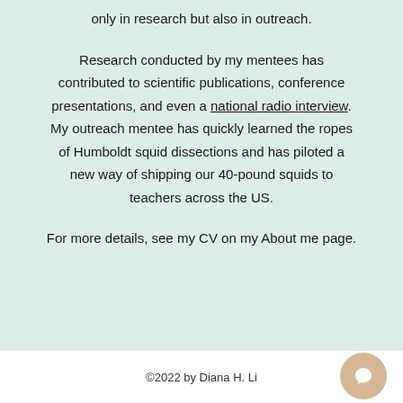only in research but also in outreach.
Research conducted by my mentees has contributed to scientific publications, conference presentations, and even a national radio interview. My outreach mentee has quickly learned the ropes of Humboldt squid dissections and has piloted a new way of shipping our 40-pound squids to teachers across the US.
For more details, see my CV on my About me page.
©2022 by Diana H. Li